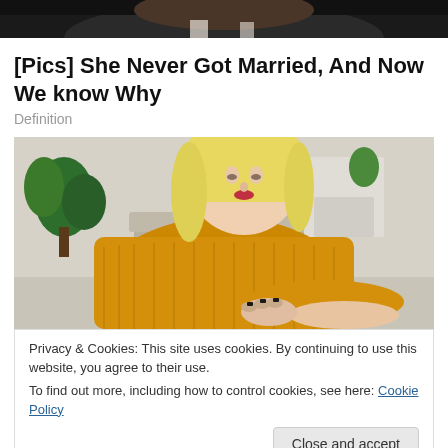[Figure (photo): Cropped top portion of a person's face/hair, dark background]
[Pics] She Never Got Married, And Now We know Why
Definition
[Figure (photo): Woman with blonde hair wearing a yellow knit sweater, looking down and scratching her forearm, seated indoors with a plant and sofa visible in background]
Privacy & Cookies: This site uses cookies. By continuing to use this website, you agree to their use.
To find out more, including how to control cookies, see here: Cookie Policy
How Stress Affects Psoriasis